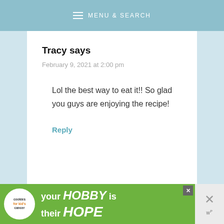MENU & SEARCH
Tracy says
February 9, 2021 at 2:00 pm
Lol the best way to eat it!! So glad you guys are enjoying the recipe!
Reply
[Figure (other): Advertisement banner: Cookies for Kid's Cancer - your HOBBY is their HOPE]